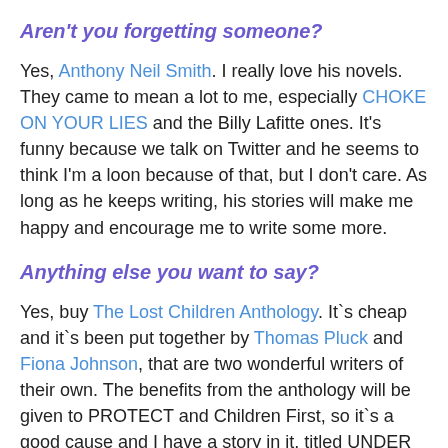Aren't you forgetting someone?
Yes, Anthony Neil Smith. I really love his novels. They came to mean a lot to me, especially CHOKE ON YOUR LIES and the Billy Lafitte ones. It's funny because we talk on Twitter and he seems to think I'm a loon because of that, but I don't care. As long as he keeps writing, his stories will make me happy and encourage me to write some more.
Anything else you want to say?
Yes, buy The Lost Children Anthology. It`s cheap and it`s been put together by Thomas Pluck and Fiona Johnson, that are two wonderful writers of their own. The benefits from the anthology will be given to PROTECT and Children First, so it`s a good cause and I have a story in it, titled UNDER THE GAZE OF SATURN.